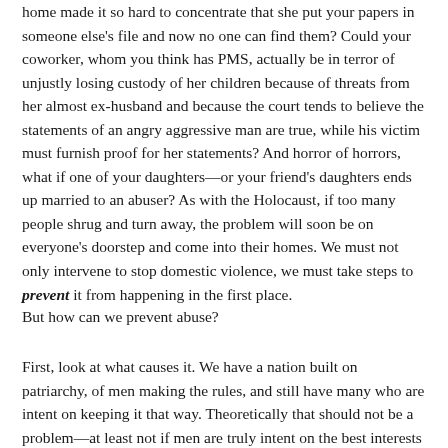home made it so hard to concentrate that she put your papers in someone else's file and now no one can find them? Could your coworker, whom you think has PMS, actually be in terror of unjustly losing custody of her children because of threats from her almost ex-husband and because the court tends to believe the statements of an angry aggressive man are true, while his victim must furnish proof for her statements? And horror of horrors, what if one of your daughters—or your friend's daughters ends up married to an abuser? As with the Holocaust, if too many people shrug and turn away, the problem will soon be on everyone's doorstep and come into their homes. We must not only intervene to stop domestic violence, we must take steps to prevent it from happening in the first place.
But how can we prevent abuse?
First, look at what causes it. We have a nation built on patriarchy, of men making the rules, and still have many who are intent on keeping it that way. Theoretically that should not be a problem—at least not if men are truly intent on the best interests of women and children as much as or more than their own welfare. But not only do humans tend to be selfish, when we have years of pro-male conditioning built from nursery songs to athlete-lion commercials,